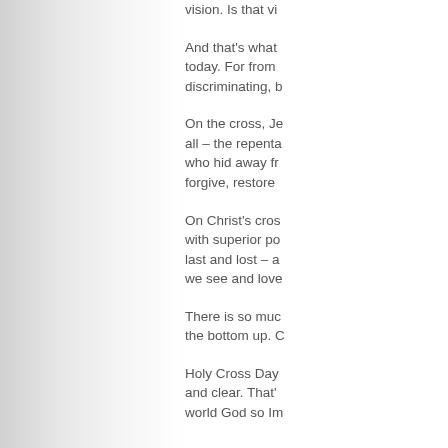vision.  Is that vi
And that's what today.  For from discriminating, b
On the cross, Je all – the repenta who hid away fr forgive, restore
On Christ's cros with superior po last and lost – a we see and love
There is so muc the bottom up. C
Holy Cross Day and clear.  That' world God so Im